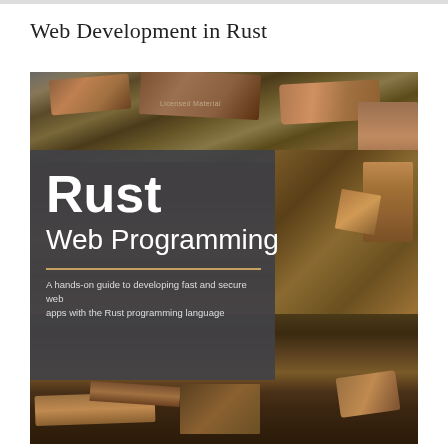Web Development in Rust
[Figure (photo): Book cover for 'Rust Web Programming' showing a scrapyard/junkyard background with rusty metal debris. The cover has a dark semi-transparent panel overlay containing the title 'Rust Web Programming' in large bold white text, a golden divider line, and subtitle text 'A hands-on guide to developing fast and secure web apps with the Rust programming language'. A 'Licensed Material' watermark appears near the top center.]